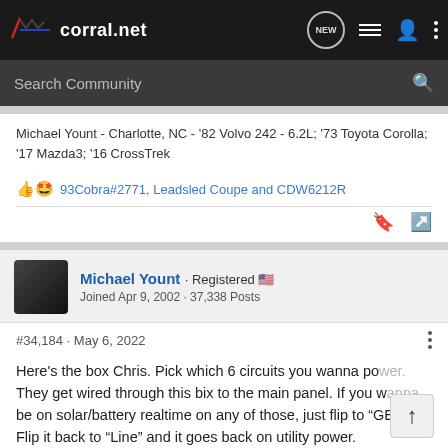corral.net — navigation bar with search community field
Michael Yount - Charlotte, NC - '82 Volvo 242 - 6.2L; '73 Toyota Corolla; '17 Mazda3; '16 CrosssTrek
93Cobra#2771, Leadsled Coupe and CDW6212R
Michael Yount · Registered 🇺🇸
Joined Apr 9, 2002 · 37,338 Posts
#34,184 · May 6, 2022
Here's the box Chris. Pick which 6 circuits you wanna power. They get wired through this bix to the main panel. If you wanna be on solar/battery realtime on any of those, just flip to "GEN". Flip it back to "Line" and it goes back on utility power.